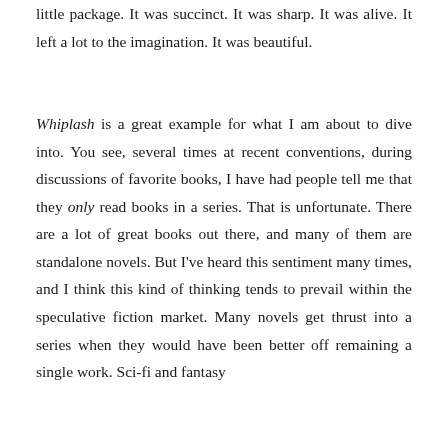little package. It was succinct. It was sharp. It was alive. It left a lot to the imagination. It was beautiful.
Whiplash is a great example for what I am about to dive into. You see, several times at recent conventions, during discussions of favorite books, I have had people tell me that they only read books in a series. That is unfortunate. There are a lot of great books out there, and many of them are standalone novels. But I've heard this sentiment many times, and I think this kind of thinking tends to prevail within the speculative fiction market. Many novels get thrust into a series when they would have been better off remaining a single work. Sci-fi and fantasy